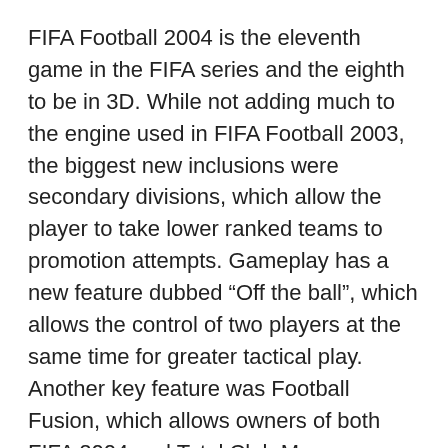FIFA Football 2004 is the eleventh game in the FIFA series and the eighth to be in 3D. While not adding much to the engine used in FIFA Football 2003, the biggest new inclusions were secondary divisions, which allow the player to take lower ranked teams to promotion attempts. Gameplay has a new feature dubbed “Off the ball”, which allows the control of two players at the same time for greater tactical play. Another key feature was Football Fusion, which allows owners of both FIFA 2004 and Total Club Manager 2004 to play games from the management sim in FIFA. The title sequence was filmed in St James’ Park, home of Newcastle United, with the opening song being Kings of Leon’s European hit “Red Morning Light”.
The cover features Alessandro Del Piero of Juventus, Thierry Henry of Arsenal, and Ronaldinho in a Brazil kit.
Please comment & rate!